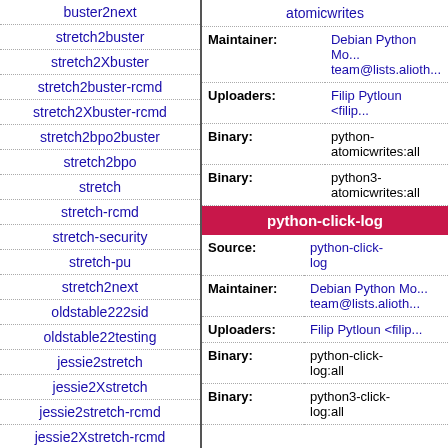buster2next
stretch2buster
stretch2Xbuster
stretch2buster-rcmd
stretch2Xbuster-rcmd
stretch2bpo2buster
stretch2bpo
stretch
stretch-rcmd
stretch-security
stretch-pu
stretch2next
oldstable222sid
oldstable22testing
jessie2stretch
jessie2Xstretch
jessie2stretch-rcmd
jessie2Xstretch-rcmd
| Field | Value |
| --- | --- |
| atomicwrites |  |
| Maintainer: | Debian Python Mo... team@lists.alioth... |
| Uploaders: | Filip Pytloun <filip... |
| Binary: | python-atomicwrites:all |
| Binary: | python3-atomicwrites:all |
python-click-log
| Field | Value |
| --- | --- |
| Source: | python-click-log |
| Maintainer: | Debian Python Mo... team@lists.alioth... |
| Uploaders: | Filip Pytloun <filip... |
| Binary: | python-click-log:all |
| Binary: | python3-click-log:all |